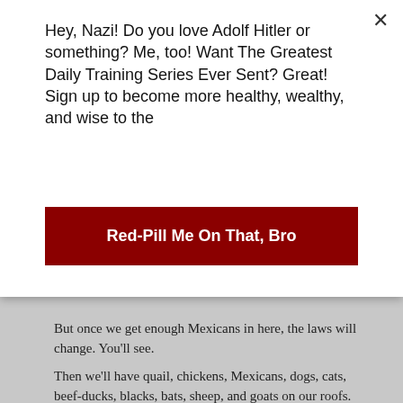Hey, Nazi! Do you love Adolf Hitler or something? Me, too! Want The Greatest Daily Training Series Ever Sent? Great! Sign up to become more healthy, wealthy, and wise to the
Red-Pill Me On That, Bro
But once we get enough Mexicans in here, the laws will change. You'll see.
Then we'll have quail, chickens, Mexicans, dogs, cats, beef-ducks, blacks, bats, sheep, and goats on our roofs.
Option #2: Train Your Quail To Hatch Their Own Birds
If you want your quail to hatch their own chicks, that's ok. See how to train a quail hen to be a momma.
The economics are excellent. You could sell some of the eggs, chicks, or meat birds. Selling a full-grown bird will